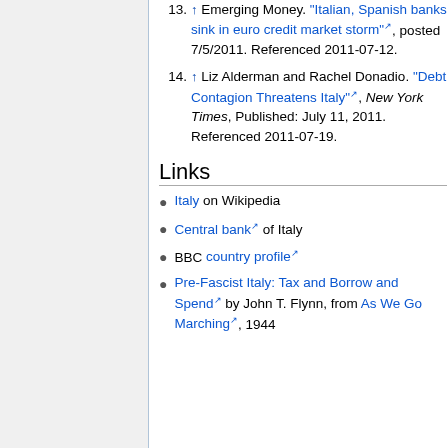13. ↑ Emerging Money. "Italian, Spanish banks sink in euro credit market storm", posted 7/5/2011. Referenced 2011-07-12.
14. ↑ Liz Alderman and Rachel Donadio. "Debt Contagion Threatens Italy", New York Times, Published: July 11, 2011. Referenced 2011-07-19.
Links
Italy on Wikipedia
Central bank of Italy
BBC country profile
Pre-Fascist Italy: Tax and Borrow and Spend by John T. Flynn, from As We Go Marching, 1944